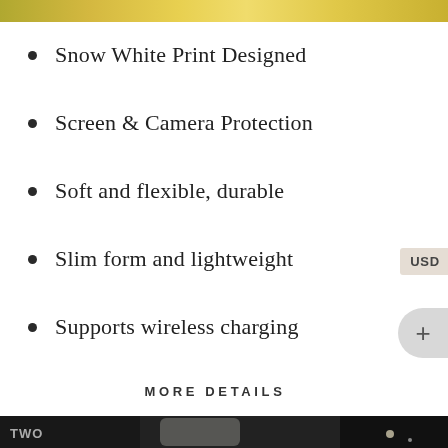[Figure (photo): Top partial image strip showing yellow/colorful background]
Snow White Print Designed
Screen & Camera Protection
Soft and flexible, durable
Slim form and lightweight
Supports wireless charging
USD
+
MORE DETAILS
[Figure (photo): Bottom photo showing a clear iPhone case with dark graffiti background]